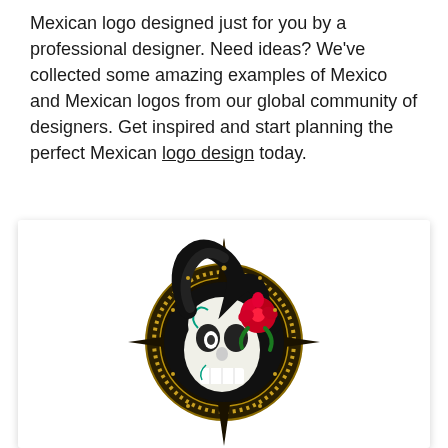Mexican logo designed just for you by a professional designer. Need ideas? We've collected some amazing examples of Mexico and Mexican logos from our global community of designers. Get inspired and start planning the perfect Mexican logo design today.
[Figure (logo): Day of the Dead (Dia de los Muertos) Mexican sugar skull woman logo design. Features a stylized female skull with intricate face paint, black swirling hair, a red rose, set within a circular Aztec-style calendar or compass motif with decorative spikes on a white background.]